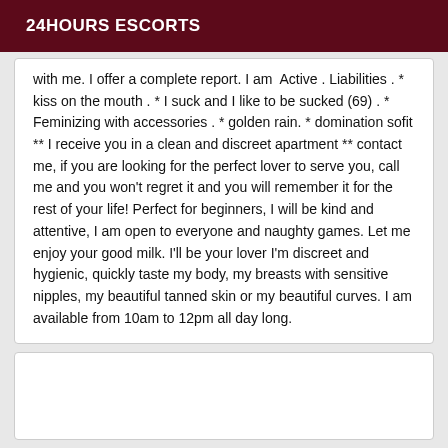24HOURS ESCORTS
with me. I offer a complete report. I am  Active . Liabilities . * kiss on the mouth . * I suck and I like to be sucked (69) . * Feminizing with accessories . * golden rain. * domination sofit ** I receive you in a clean and discreet apartment ** contact me, if you are looking for the perfect lover to serve you, call me and you won't regret it and you will remember it for the rest of your life! Perfect for beginners, I will be kind and attentive, I am open to everyone and naughty games. Let me enjoy your good milk. I'll be your lover I'm discreet and hygienic, quickly taste my body, my breasts with sensitive nipples, my beautiful tanned skin or my beautiful curves. I am available from 10am to 12pm all day long.